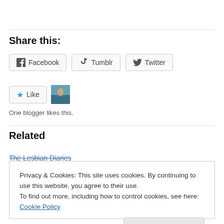Share this:
[Figure (other): Social share buttons: Facebook, Tumblr, Twitter]
[Figure (other): Like button with star icon and user avatar thumbnail]
One blogger likes this.
Related
The Lesbian Diaries
Privacy & Cookies: This site uses cookies. By continuing to use this website, you agree to their use.
To find out more, including how to control cookies, see here: Cookie Policy